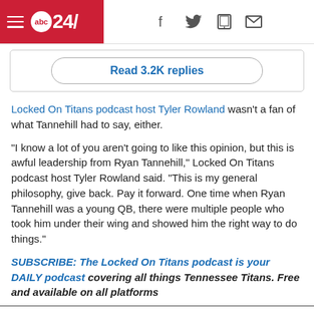abc24/ — navigation header with social icons
Read 3.2K replies
Locked On Titans podcast host Tyler Rowland wasn't a fan of what Tannehill had to say, either.
"I know a lot of you aren't going to like this opinion, but this is awful leadership from Ryan Tannehill," Locked On Titans podcast host Tyler Rowland said. "This is my general philosophy, give back. Pay it forward. One time when Ryan Tannehill was a young QB, there were multiple people who took him under their wing and showed him the right way to do things."
SUBSCRIBE: The Locked On Titans podcast is your DAILY podcast covering all things Tennessee Titans. Free and available on all platforms